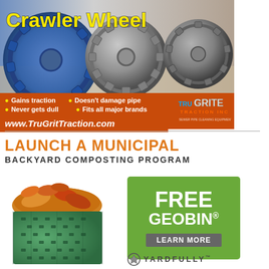[Figure (illustration): TruGrit Crawler Wheel advertisement showing industrial wheels/tires with blue traction wheel in foreground, gray wheels behind on orange background. Bullets: Gains traction, Never gets dull, Doesn't damage pipe, Fits all major brands. URL: www.TruGritTraction.com. TruGrit Traction Inc logo.]
[Figure (illustration): Yardfully advertisement: Launch a Municipal Backyard Composting Program. Photo of green perforated compost bin filled with compost material. Green box with FREE GEOBIN® LEARN MORE text. Yardfully logo at bottom.]